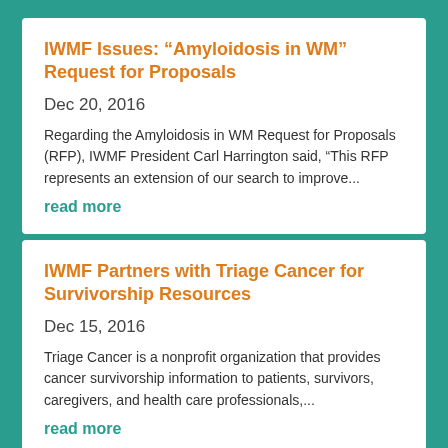IWMF Issues: “Amyloidosis in WM” Request for Proposals
Dec 20, 2016
Regarding the Amyloidosis in WM Request for Proposals (RFP), IWMF President Carl Harrington said, “This RFP represents an extension of our search to improve...
read more
IWMF Partners with Triage Cancer for Survivorship Resources
Dec 15, 2016
Triage Cancer is a nonprofit organization that provides cancer survivorship information to patients, survivors, caregivers, and health care professionals,...
read more